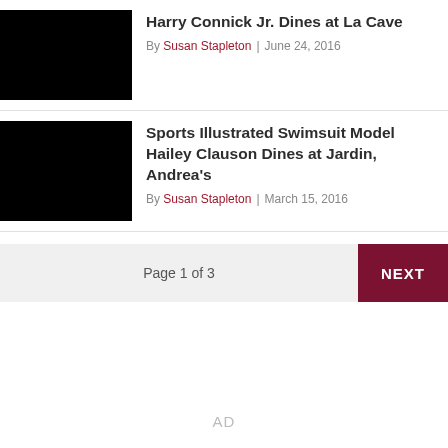[Figure (photo): Black thumbnail image for article about Harry Connick Jr.]
Harry Connick Jr. Dines at La Cave
By Susan Stapleton | June 24, 2016
[Figure (photo): Black thumbnail image for article about Hailey Clauson]
Sports Illustrated Swimsuit Model Hailey Clauson Dines at Jardin, Andrea's
By Susan Stapleton | March 15, 2016
Page 1 of 3
NEXT
AD